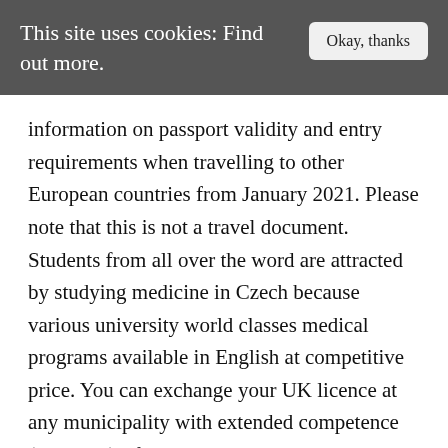This site uses cookies: Find out more.
Okay, thanks
information on passport validity and entry requirements when travelling to other European countries from January 2021. Please note that this is not a travel document. Students from all over the word are attracted by studying medicine in Czech because various university world classes medical programs available in English at competitive price. You can exchange your UK licence at any municipality with extended competence (in Czech). If you live in the Czech Republic for more than six months in the current year, you will need to pay tax on your worldwide